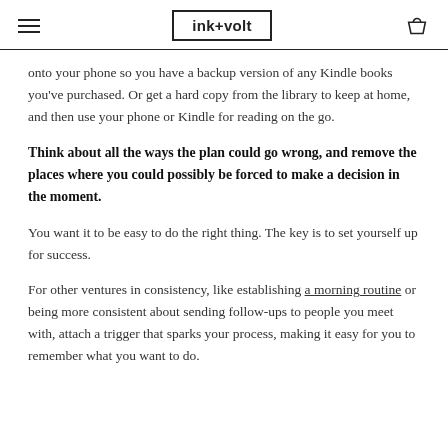ink+volt
onto your phone so you have a backup version of any Kindle books you've purchased. Or get a hard copy from the library to keep at home, and then use your phone or Kindle for reading on the go.
Think about all the ways the plan could go wrong, and remove the places where you could possibly be forced to make a decision in the moment.
You want it to be easy to do the right thing. The key is to set yourself up for success.
For other ventures in consistency, like establishing a morning routine or being more consistent about sending follow-ups to people you meet with, attach a trigger that sparks your process, making it easy for you to remember what you want to do.